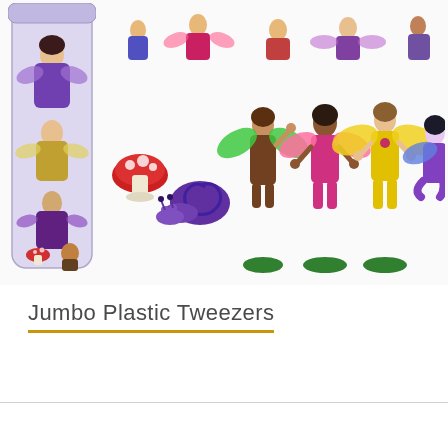[Figure (photo): Product photo showing a tube/container of fairy figurines on the left, and individual fairy figurines spread out on the right. Figurines include fairies with wings in various colors (purple, green, pink, yellow), a mushroom, a purple snail, and a boy fairy figure.]
Jumbo Plastic Tweezers